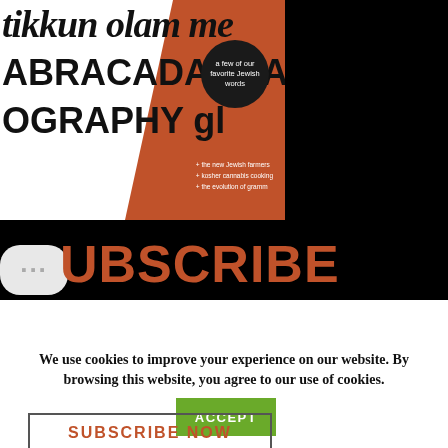[Figure (illustration): Moment Magazine cover showing large bold typography with words 'tikkun olam', 'ABRACADABRA', 'OGRAPHY', an orange triangle background, a dark circle badge reading 'a few of our favorite Jewish words', and bullet points about Jewish farmers, kosher cannabis cooking, the evolution of gramma]
SUBSCRIBE
Get a year of Moment Magazine for just $19.97, 52% off the cover price!
SUBSCRIBE NOW
We use cookies to improve your experience on our website. By browsing this website, you agree to our use of cookies.
ACCEPT